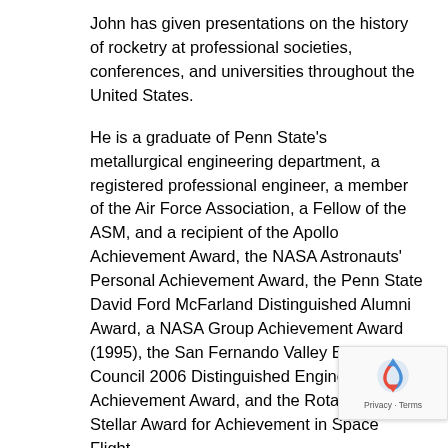John has given presentations on the history of rocketry at professional societies, conferences, and universities throughout the United States.
He is a graduate of Penn State's metallurgical engineering department, a registered professional engineer, a member of the Air Force Association, a Fellow of the ASM, and a recipient of the Apollo Achievement Award, the NASA Astronauts' Personal Achievement Award, the Penn State David Ford McFarland Distinguished Alumni Award, a NASA Group Achievement Award (1995), the San Fernando Valley Engineers' Council 2006 Distinguished Engineering Achievement Award, and the Rotary National Stellar Award for Achievement in Space Flight.
————————————————————————————
Building Resilience: How to navigate stress and cr... of COVID-19